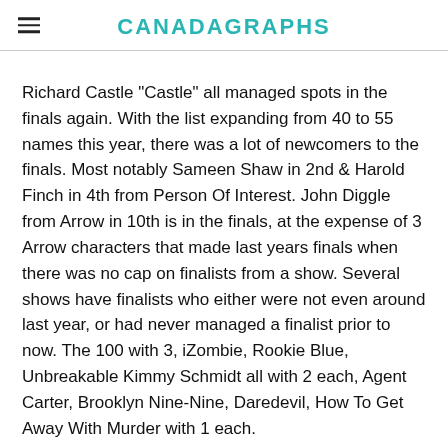CANADAGRAPHS
Richard Castle "Castle" all managed spots in the finals again. With the list expanding from 40 to 55 names this year, there was a lot of newcomers to the finals. Most notably Sameen Shaw in 2nd & Harold Finch in 4th from Person Of Interest. John Diggle from Arrow in 10th is in the finals, at the expense of 3 Arrow characters that made last years finals when there was no cap on finalists from a show. Several shows have finalists who either were not even around last year, or had never managed a finalist prior to now. The 100 with 3, iZombie, Rookie Blue, Unbreakable Kimmy Schmidt all with 2 each, Agent Carter, Brooklyn Nine-Nine, Daredevil, How To Get Away With Murder with 1 each.